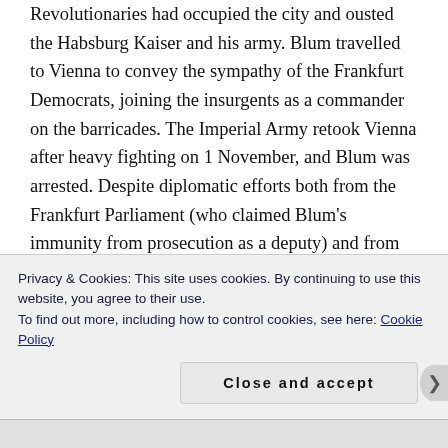Revolutionaries had occupied the city and ousted the Habsburg Kaiser and his army. Blum travelled to Vienna to convey the sympathy of the Frankfurt Democrats, joining the insurgents as a commander on the barricades. The Imperial Army retook Vienna after heavy fighting on 1 November, and Blum was arrested. Despite diplomatic efforts both from the Frankfurt Parliament (who claimed Blum's immunity from prosecution as a deputy) and from the Saxon authorities, the Imperial military command, who considered Blum a most dangerous anarchist, condemned him to death in a two hour trial on the night of 8 November. He was shot at 8 in the morning of
Privacy & Cookies: This site uses cookies. By continuing to use this website, you agree to their use.
To find out more, including how to control cookies, see here: Cookie Policy
Close and accept